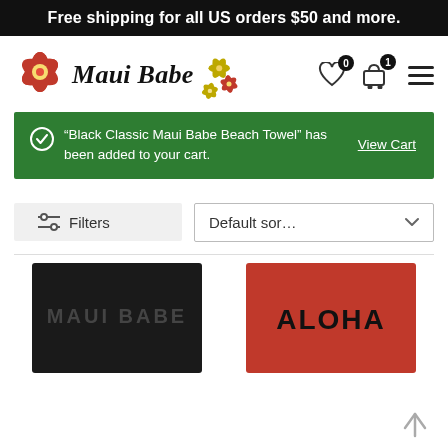Free shipping for all US orders $50 and more.
[Figure (logo): Maui Babe logo with hibiscus flowers and italic bold text]
"Black Classic Maui Babe Beach Towel" has been added to your cart.
View Cart
Filters
Default sor...
[Figure (photo): Black beach towel with 'MAUI BABE' text]
[Figure (photo): Red beach towel with 'ALOHA' text in black]